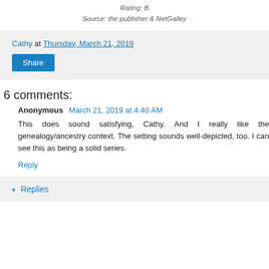Rating: B
Source: the publisher & NetGalley
Cathy at Thursday, March 21, 2019
Share
6 comments:
Anonymous March 21, 2019 at 4:40 AM
This does sound satisfying, Cathy. And I really like the genealogy/ancestry context. The setting sounds well-depicted, too. I can see this as being a solid series.
Reply
Replies